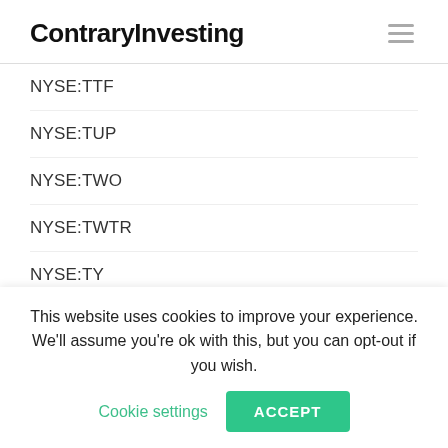ContraryInvesting
NYSE:TTF
NYSE:TUP
NYSE:TWO
NYSE:TWTR
NYSE:TY
NYSE:TYG
NYSE:UBA
NYSE:UBS
NYSE:UDR
This website uses cookies to improve your experience. We'll assume you're ok with this, but you can opt-out if you wish. Cookie settings ACCEPT